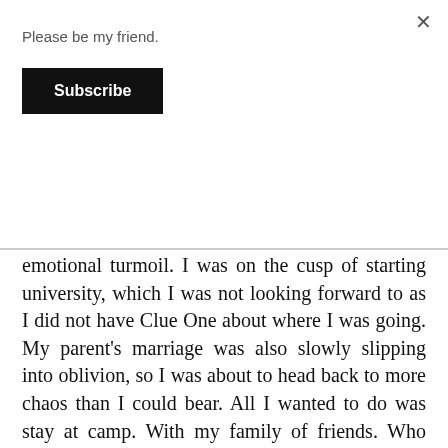Please be my friend.
Subscribe
emotional turmoil. I was on the cusp of starting university, which I was not looking forward to as I did not have Clue One about where I was going. My parent's marriage was also slowly slipping into oblivion, so I was about to head back to more chaos than I could bear. All I wanted to do was stay at camp. With my family of friends. Who would shield me from the rest of reality while we idyllically breathed in an endless summer.